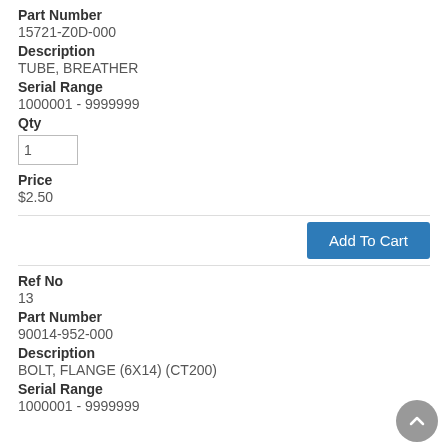Part Number
15721-Z0D-000
Description
TUBE, BREATHER
Serial Range
1000001 - 9999999
Qty
1
Price
$2.50
Add To Cart
Ref No
13
Part Number
90014-952-000
Description
BOLT, FLANGE (6X14) (CT200)
Serial Range
1000001 - 9999999